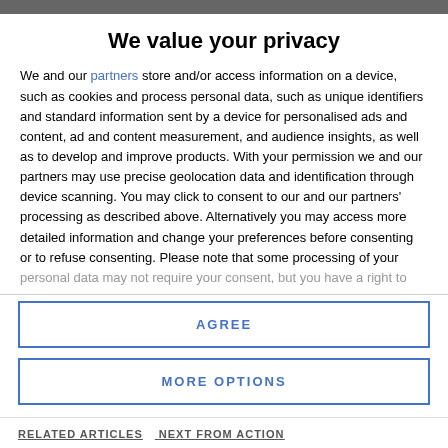We value your privacy
We and our partners store and/or access information on a device, such as cookies and process personal data, such as unique identifiers and standard information sent by a device for personalised ads and content, ad and content measurement, and audience insights, as well as to develop and improve products. With your permission we and our partners may use precise geolocation data and identification through device scanning. You may click to consent to our and our partners' processing as described above. Alternatively you may access more detailed information and change your preferences before consenting or to refuse consenting. Please note that some processing of your personal data may not require your consent, but you have a right to
AGREE
MORE OPTIONS
RELATED ARTICLES   NEXT FROM ACTION